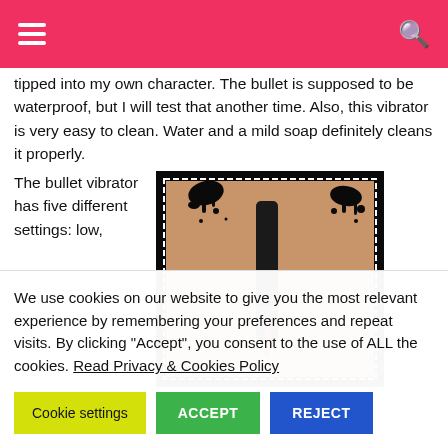Navigation header with hamburger menu and search icon
tipped into my own character. The bullet is supposed to be waterproof, but I will test that another time. Also, this vibrator is very easy to clean. Water and a mild soap definitely cleans it properly.
The bullet vibrator has five different settings: low,
[Figure (photo): Close-up photo of bullet vibrator in use, with black ink splatter decorative border, watermarked with copyright text]
We use cookies on our website to give you the most relevant experience by remembering your preferences and repeat visits. By clicking "Accept", you consent to the use of ALL the cookies. Read Privacy & Cookies Policy
Cookie settings | ACCEPT | REJECT